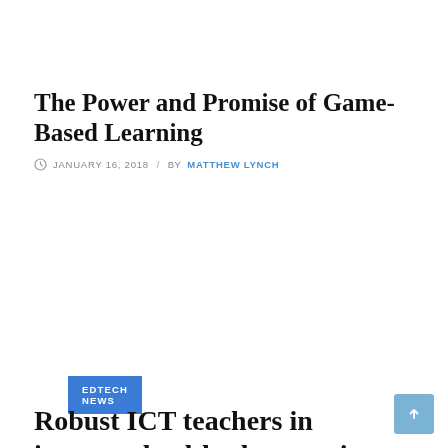The Power and Promise of Game-Based Learning
JANUARY 16, 2018  /  BY MATTHEW LYNCH
EDTECH NEWS
Robust ICT teachers in internet, health, the question